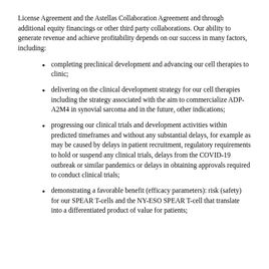License Agreement and the Astellas Collaboration Agreement and through additional equity financings or other third party collaborations. Our ability to generate revenue and achieve profitability depends on our success in many factors, including:
completing preclinical development and advancing our cell therapies to clinic;
delivering on the clinical development strategy for our cell therapies including the strategy associated with the aim to commercialize ADP-A2M4 in synovial sarcoma and in the future, other indications;
progressing our clinical trials and development activities within predicted timeframes and without any substantial delays, for example as may be caused by delays in patient recruitment, regulatory requirements to hold or suspend any clinical trials, delays from the COVID-19 outbreak or similar pandemics or delays in obtaining approvals required to conduct clinical trials;
demonstrating a favorable benefit (efficacy parameters): risk (safety) for our SPEAR T-cells and the NY-ESO SPEAR T-cell that translate into a differentiated product of value for patients;